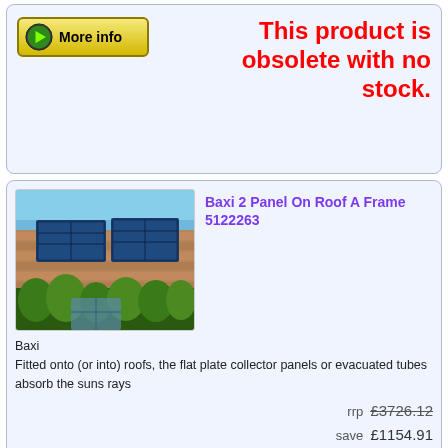[Figure (other): More info button with green arrow]
This product is obsolete with no stock.
[Figure (photo): Solar panels installed on a roof with plants below, blue sky background]
Baxi 2 Panel On Roof A Frame 5122263
Baxi
Fitted onto (or into) roofs, the flat plate collector panels or evacuated tubes absorb the suns rays
rrp £3726.12
save £1154.91
price £2571.21 *
[Figure (other): More info button with green arrow]
This product is obsolete with no stock.